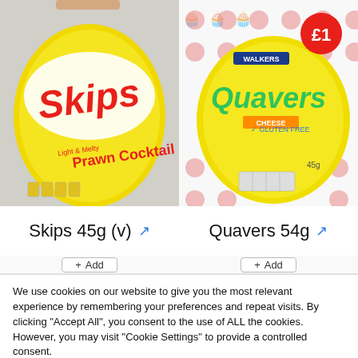[Figure (photo): Skips Prawn Cocktail 45g yellow crisp bag product photo]
[Figure (photo): Walkers Quavers Cheese 54g yellow crisp bag product photo with £1 price roundel]
Skips 45g (v)
Quavers 54g
We use cookies on our website to give you the most relevant experience by remembering your preferences and repeat visits. By clicking "Accept All", you consent to the use of ALL the cookies. However, you may visit "Cookie Settings" to provide a controlled consent.
Cookie Settings
Accept All